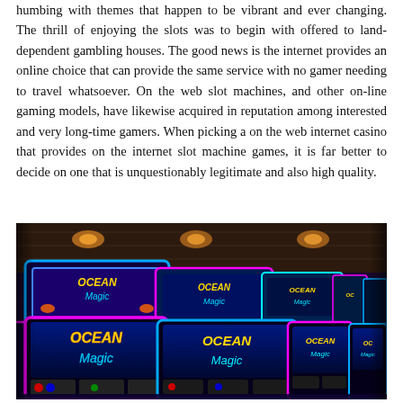humbing with themes that happen to be vibrant and ever changing. The thrill of enjoying the slots was to begin with offered to land-dependent gambling houses. The good news is the internet provides an online choice that can provide the same service with no gamer needing to travel whatsoever. On the web slot machines, and other on-line gaming models, have likewise acquired in reputation among interested and very long-time gamers. When picking a on the web internet casino that provides on the internet slot machine games, it is far better to decide on one that is unquestionably legitimate and also high quality.
[Figure (photo): A row of 'Ocean Magic' slot machines in a casino, showing multiple screens with colorful blue and purple themed displays, arranged in two tiers.]